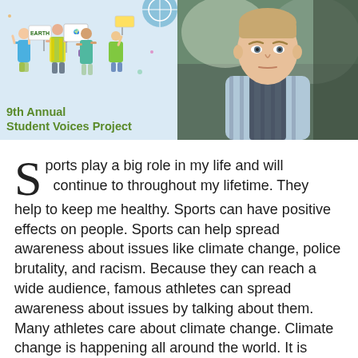[Figure (illustration): Left half: light blue background illustration of diverse people holding signs including 'EARTH', with text '9th Annual Student Voices Project' in green bold font below. Right half: photo of a young boy with short hair outdoors.]
Sports play a big role in my life and will continue to throughout my lifetime. They help to keep me healthy. Sports can have positive effects on people. Sports can help spread awareness about issues like climate change, police brutality, and racism. Because they can reach a wide audience, famous athletes can spread awareness about issues by talking about them. Many athletes care about climate change. Climate change is happening all around the world. It is caused by the